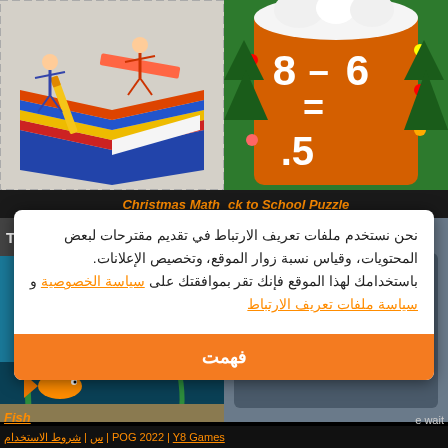[Figure (illustration): Back to School Puzzle game screenshot showing students with school supplies on a colorful isometric book]
[Figure (screenshot): Christmas Math game showing subtraction problem: 8 - 6 = 5. on orange mug background with Christmas decorations]
ck to School Puzzle
Christmas Math
[Figure (screenshot): Fish game screenshot showing Time: 23, game controls, and underwater fish scene]
[Figure (screenshot): Gray screenshot of another game]
نحن نستخدم ملفات تعريف الارتباط في تقديم مقترحات لبعض المحتويات، وقياس نسبة زوار الموقع، وتخصيص الإعلانات. باستخدامك لهذا الموقع فإنك تقر بموافقتك على سياسة الخصوصية و سياسة ملفات تعريف الارتباط
Fish
| POG 2022 | Y8 Games | شروط الاستخدام | س